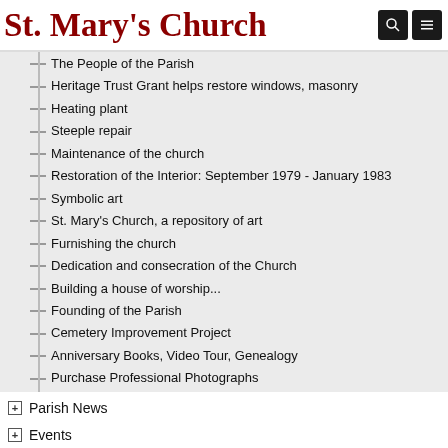St. Mary's Church
The People of the Parish
Heritage Trust Grant helps restore windows, masonry
Heating plant
Steeple repair
Maintenance of the church
Restoration of the Interior: September 1979 - January 1983
Symbolic art
St. Mary's Church, a repository of art
Furnishing the church
Dedication and consecration of the Church
Building a house of worship...
Founding of the Parish
Cemetery Improvement Project
Anniversary Books, Video Tour, Genealogy
Purchase Professional Photographs
Parish News
Events